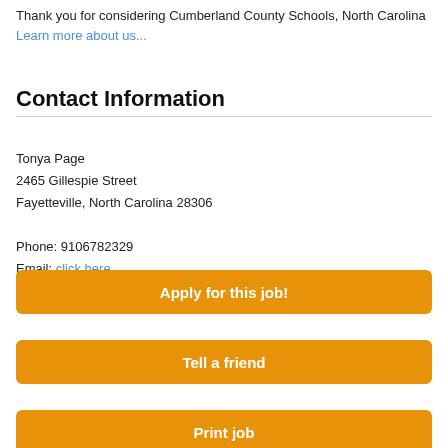Thank you for considering Cumberland County Schools, North Carolina Learn more about us...
Contact Information
Tonya Page
2465 Gillespie Street
Fayetteville, North Carolina 28306

Phone: 9106782329
Email: click here
Apply for this job!
Tell a friend
Print job